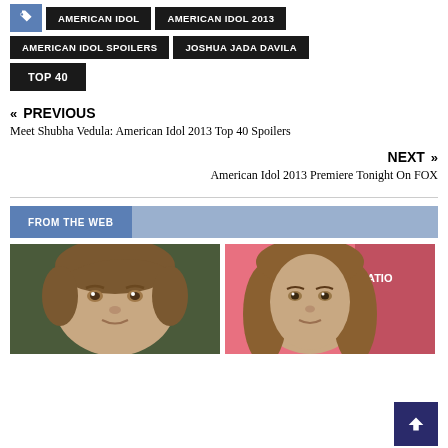AMERICAN IDOL
AMERICAN IDOL 2013
AMERICAN IDOL SPOILERS
JOSHUA JADA DAVILA
TOP 40
« PREVIOUS
Meet Shubha Vedula: American Idol 2013 Top 40 Spoilers
NEXT »
American Idol 2013 Premiere Tonight On FOX
FROM THE WEB
[Figure (photo): Two celebrity photos side by side under 'From the Web' section. Left: young person with short brown hair. Right: woman with long brown hair at an event with pink background.]